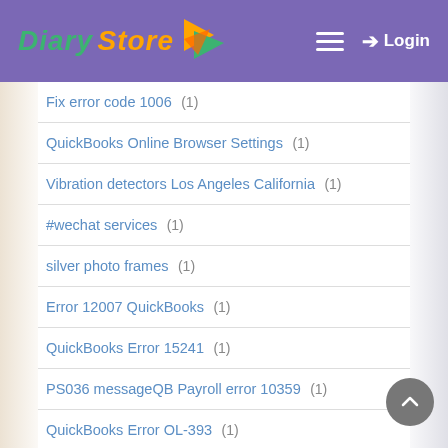Diary Store — Login
Fix error code 1006 (1)
QuickBooks Online Browser Settings (1)
Vibration detectors Los Angeles California (1)
#wechat services (1)
silver photo frames (1)
Error 12007 QuickBooks (1)
QuickBooks Error 15241 (1)
PS036 messageQB Payroll error 10359 (1)
QuickBooks Error OL-393 (1)
Sage 50 Unable to Send Email (1)
QuickBooks banking error 108 (2)
error 9999 in QuickBooks (1)